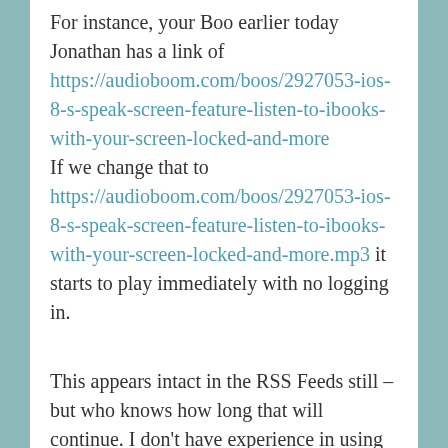For instance, your Boo earlier today Jonathan has a link of https://audioboom.com/boos/2927053-ios-8-s-speak-screen-feature-listen-to-ibooks-with-your-screen-locked-and-more If we change that to https://audioboom.com/boos/2927053-ios-8-s-speak-screen-feature-listen-to-ibooks-with-your-screen-locked-and-more.mp3 it starts to play immediately with no logging in.
This appears intact in the RSS Feeds still – but who knows how long that will continue. I don't have experience in using the feeds in a podcatcher like Sara talks about above, but hopefully seeing the code of the feeds remains as